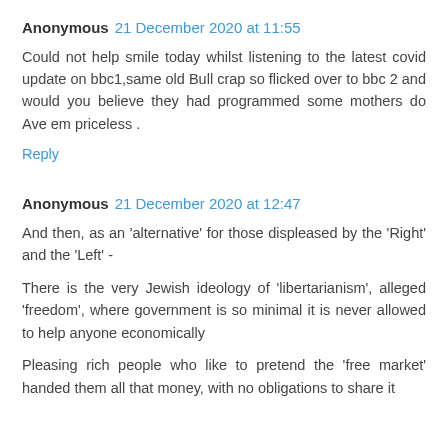Anonymous 21 December 2020 at 11:55
Could not help smile today whilst listening to the latest covid update on bbc1,same old Bull crap so flicked over to bbc 2 and would you believe they had programmed some mothers do Ave em priceless .
Reply
Anonymous 21 December 2020 at 12:47
And then, as an 'alternative' for those displeased by the 'Right' and the 'Left' -
There is the very Jewish ideology of 'libertarianism', alleged 'freedom', where government is so minimal it is never allowed to help anyone economically
Pleasing rich people who like to pretend the 'free market' handed them all that money, with no obligations to share it